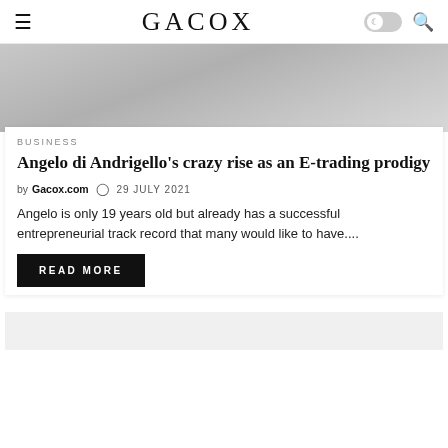GACOX
[Figure (photo): Grayscale hero image partially visible at top of article card]
BUSINESS
Angelo di Andrigello’s crazy rise as an E-trading prodigy
by Gacox.com   29 JULY 2021
Angelo is only 19 years old but already has a successful entrepreneurial track record that many would like to have....
READ MORE